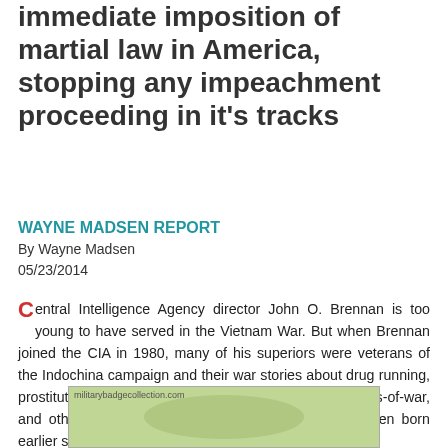immediate imposition of martial law in America, stopping any impeachment proceeding in it's tracks
WAYNE MADSEN REPORT
By Wayne Madsen
05/23/2014
Central Intelligence Agency director John O. Brennan is too young to have served in the Vietnam War. But when Brennan joined the CIA in 1980, many of his superiors were veterans of the Indochina campaign and their war stories about drug running, prostitution, extrajudicial killings of civilians and prisoners-of-war, and other tales must have made him wish he had been born earlier so that he could have reveled in such exploits.
[Figure (photo): Partial photo with militarybadgecollection.com watermark, showing a green military-themed image]